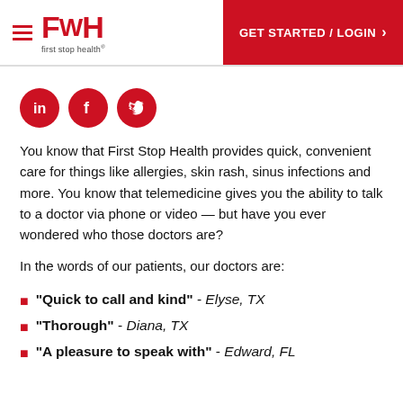FWH first stop health | GET STARTED / LOGIN
[Figure (logo): First Stop Health logo with hamburger menu icon, red FWH text and 'first stop health' tagline, plus red GET STARTED / LOGIN button]
[Figure (illustration): Three red social media circle icons: LinkedIn, Facebook, Twitter]
You know that First Stop Health provides quick, convenient care for things like allergies, skin rash, sinus infections and more. You know that telemedicine gives you the ability to talk to a doctor via phone or video — but have you ever wondered who those doctors are?
In the words of our patients, our doctors are:
"Quick to call and kind" - Elyse, TX
"Thorough" - Diana, TX
"A pleasure to speak with" - Edward, FL